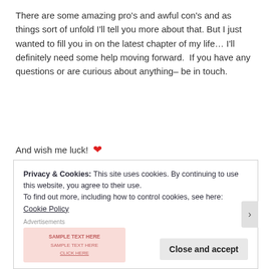There are some amazing pro's and awful con's and as things sort of unfold I'll tell you more about that. But I just wanted to fill you in on the latest chapter of my life… I'll definitely need some help moving forward.  If you have any questions or are curious about anything– be in touch.
And wish me luck! ❤
Privacy & Cookies: This site uses cookies. By continuing to use this website, you agree to their use.
To find out more, including how to control cookies, see here: Cookie Policy
Close and accept